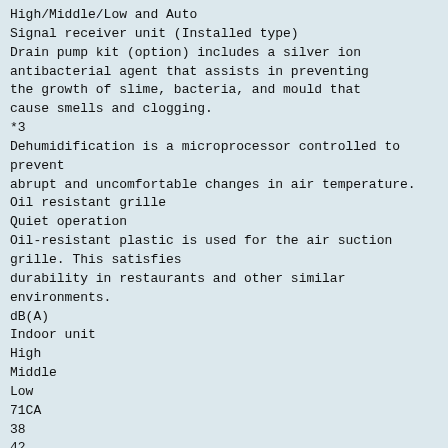High/Middle/Low and Auto
Signal receiver unit (Installed type)
Drain pump kit (option) includes a silver ion antibacterial agent that assists in preventing the growth of slime, bacteria, and mould that cause smells and clogging.
*3
Dehumidification is a microprocessor controlled to prevent abrupt and uncomfortable changes in air temperature.
Oil resistant grille
Quiet operation
Oil-resistant plastic is used for the air suction grille. This satisfies durability in restaurants and other similar environments.
dB(A)
Indoor unit
High
Middle
Low
71CA
38
42
44
46
36
38
41
42
34
34